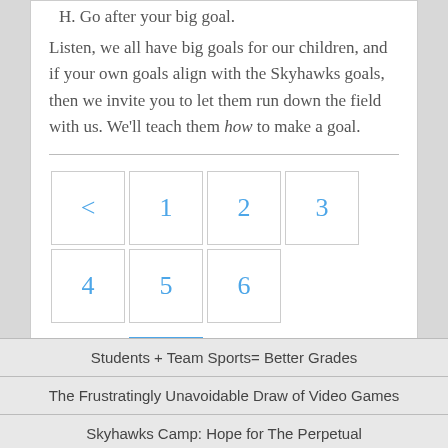H. Go after your big goal.
Listen, we all have big goals for our children, and if your own goals align with the Skyhawks goals, then we invite you to let them run down the field with us. We'll teach them how to make a goal.
[Figure (other): Pagination control with buttons: <, 1, 2, 3, 4, 5, 6, 7 (active/highlighted)]
Students + Team Sports= Better Grades
The Frustratingly Unavoidable Draw of Video Games
Skyhawks Camp: Hope for The Perpetual